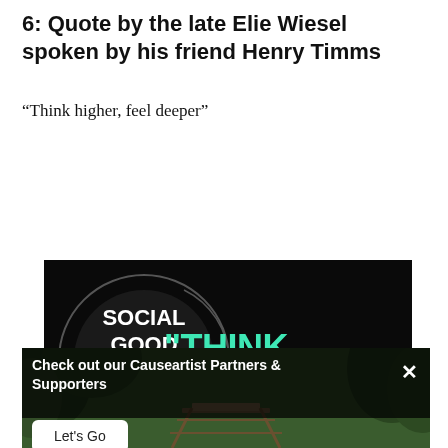6: Quote by the late Elie Wiesel spoken by his friend Henry Timms
“Think higher, feel deeper”
[Figure (photo): Social Good Summit 2016 logo on dark background with 'THINK HIGHER FEEL DEEPER' text in teal/mint color overlaid at bottom. Below is a nature photo of a wooden bridge through forest with a dark overlay banner reading 'Check out our Causeartist Partners & Supporters' with a 'Let's Go' button and close X.]